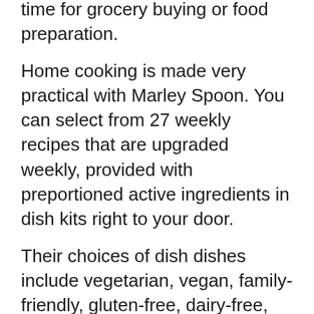time for grocery buying or food preparation.
Home cooking is made very practical with Marley Spoon. You can select from 27 weekly recipes that are upgraded weekly, provided with preportioned active ingredients in dish kits right to your door.
Their choices of dish dishes include vegetarian, vegan, family-friendly, gluten-free, dairy-free, and reduced carbohydrate options. Their 6-step recipe cards are chef-inspired and very easy to adhere to. With versatile membership you can miss, pause or cancel in at any time.
Aside from 2-person and 4-person meal package boxes, they also use fruit boxes